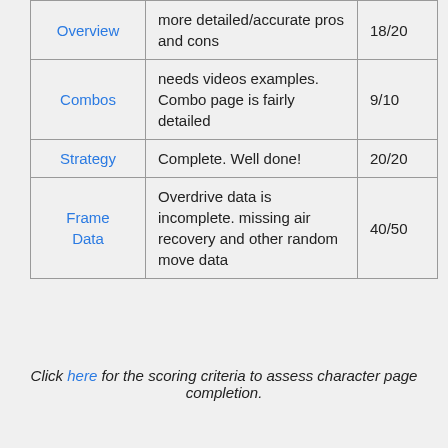| Category | Notes | Score |
| --- | --- | --- |
| Overview | more detailed/accurate pros and cons | 18/20 |
| Combos | needs videos examples. Combo page is fairly detailed | 9/10 |
| Strategy | Complete. Well done! | 20/20 |
| Frame Data | Overdrive data is incomplete. missing air recovery and other random move data | 40/50 |
Click here for the scoring criteria to assess character page completion.